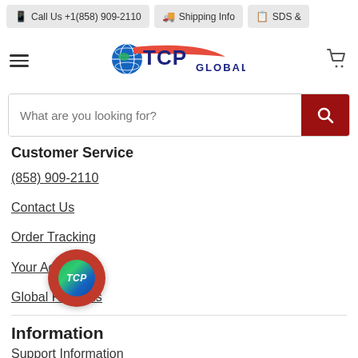Call Us +1(858) 909-2110 | Shipping Info | SDS &
[Figure (logo): TCP Global logo with globe icon and orange swoosh]
What are you looking for?
Customer Service
(858) 909-2110
Contact Us
Order Tracking
Your Account
Global Rewards
Information
Support Information